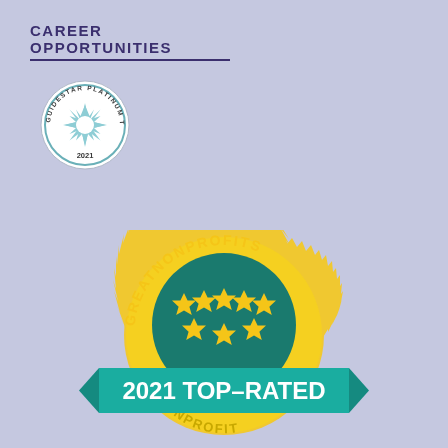CAREER OPPORTUNITIES
[Figure (logo): GuideStar Platinum Transparency 2021 seal — circular badge with star burst in center and text around the border]
[Figure (logo): GreatNonprofits 2021 Top-Rated Nonprofit gold seal badge with teal circle center showing 7 gold stars and a teal ribbon banner reading '2021 TOP-RATED' and bottom arc text 'NONPROFIT']